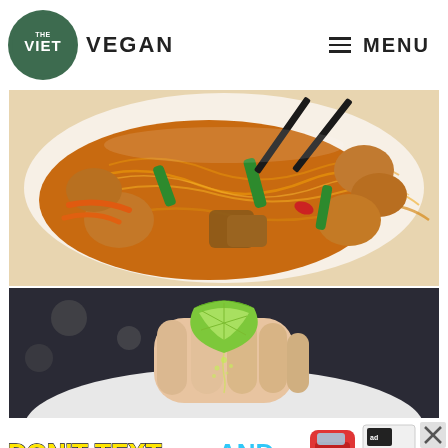THE VIET VEGAN | MENU
[Figure (photo): Close-up of a bowl of vegan Vietnamese stir-fried glass noodles with tofu, vegetables (green onions, zucchini, carrots), and tofu puffs in spicy red-orange sauce, with black chopsticks visible at the top right.]
[Figure (photo): A hand squeezing a fresh lime wedge over a white bowl, with juice dripping down.]
[Figure (photo): Advertisement banner: DON'T TEXT AND [car emoji] with NHTSA ad logo and close buttons.]